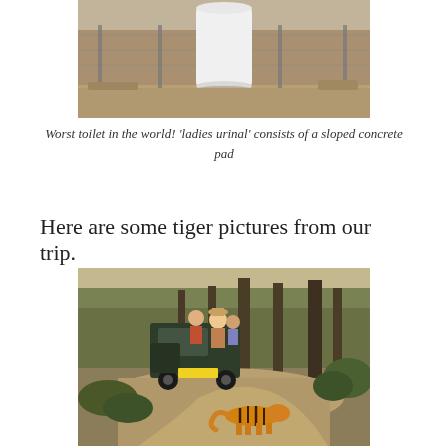[Figure (photo): Outdoor facility showing a white cylindrical concrete structure against a wire fence and dry vegetation — described as the 'ladies urinal' consisting of a sloped concrete pad. Worst toilet in the world.]
Worst toilet in the world! 'ladies urinal' consists of a sloped concrete pad
Here are some tiger pictures from our trip.
[Figure (photo): Safari jeep with tourists on a dirt track in a forested park, with a tiger crossing the road in the foreground.]